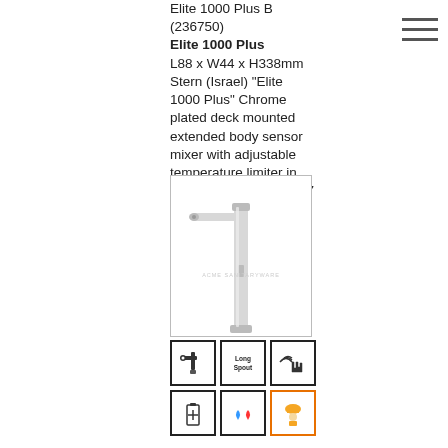Elite 1000 Plus B (236750)
Elite 1000 Plus
L88 x W44 x H338mm Stern (Israel) "Elite 1000 Plus" Chrome plated deck mounted extended body sensor mixer with adjustable temperature limiter in 9V DC Supply with IP67 waterproof battery box
[Figure (photo): Chrome plated tall sensor mixer tap/faucet with long spout, shown in full height product shot with watermark ACME SANITARYWARE]
[Figure (infographic): Six feature icons: tap/mixer icon, Long Spout text icon, sensor/hand wave icon, battery icon, hot/cold water drops icon, safety worker/hard hat icon (orange border)]
Elite 1000 Plus LB (236760)
Elite 1000 Plus L